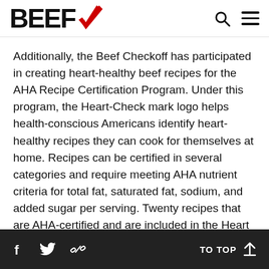BEEF [logo with checkmark] [search icon] [menu icon]
Additionally, the Beef Checkoff has participated in creating heart-healthy beef recipes for the AHA Recipe Certification Program. Under this program, the Heart-Check mark logo helps health-conscious Americans identify heart-healthy recipes they can cook for themselves at home. Recipes can be certified in several categories and require meeting AHA nutrient criteria for total fat, saturated fat, sodium, and added sugar per serving. Twenty recipes that are AHA-certified and are included in the Heart Healthy Recipes collection on BeefItsWhatsForDinner.com
f  [twitter bird]  [link icon]    TO TOP [up arrow]